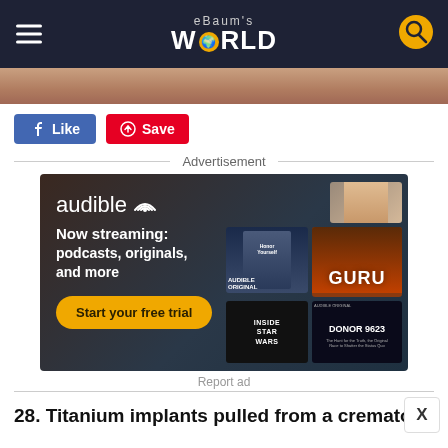eBaum's World
[Figure (photo): Partial hero/banner image strip showing a person's face and decorative elements]
[Figure (other): Facebook Like button and Pinterest Save button]
Advertisement
[Figure (other): Audible advertisement: Now streaming: podcasts, originals, and more. Start your free trial. Shows book covers including Guru, Inside Star Wars, Donor 9623.]
Report ad
28. Titanium implants pulled from a crematory